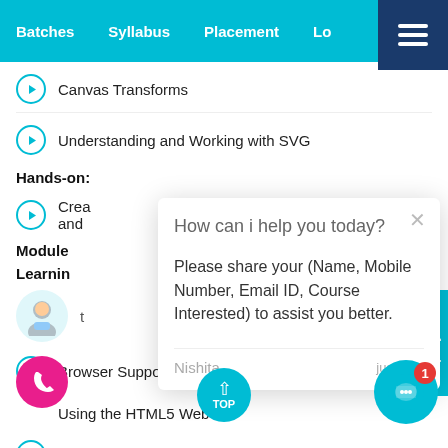Batches   Syllabus   Placement   Lo...
Canvas Transforms
Understanding and Working with SVG
Hands-on:
Crea... and ...
Module
Learning
[Figure (screenshot): Chat widget popup with message: How can i help you today? Please share your (Name, Mobile Number, Email ID, Course Interested) to assist you better. Sender: Nishita, just now]
Browser Support for HTML4 Web Storage
Using the HTML5 Web Storage
Checking for Browser Support